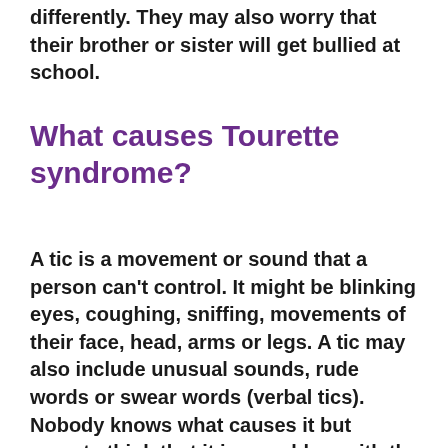differently. They may also worry that their brother or sister will get bullied at school.
What causes Tourette syndrome?
A tic is a movement or sound that a person can't control. It might be blinking eyes, coughing, sniffing, movements of their face, head, arms or legs. A tic may also include unusual sounds, rude words or swear words (verbal tics). Nobody knows what causes it but experts think that it is a problem with the brain. Usually, more boys than girls are affected by it.